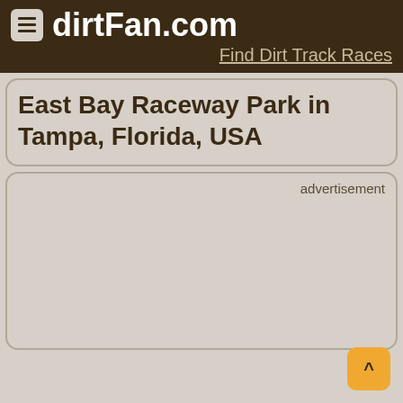dirtFan.com — Find Dirt Track Races
East Bay Raceway Park in Tampa, Florida, USA
advertisement